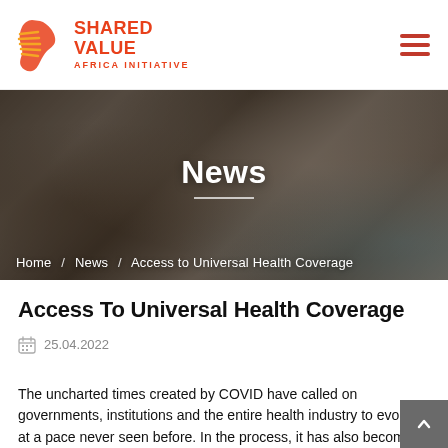SHARED VALUE AFRICA INITIATIVE
[Figure (photo): Hero banner with photo of two people, one in a checkered shirt working on a laptop, with the word 'News' overlaid in white text and a breadcrumb navigation below reading Home / News / Access to Universal Health Coverage]
Access To Universal Health Coverage
25.04.2022
The uncharted times created by COVID have called on governments, institutions and the entire health industry to evolve at a pace never seen before. In the process, it has also become a much-needed catalyst for transforming the healthcare experience from the inside out.